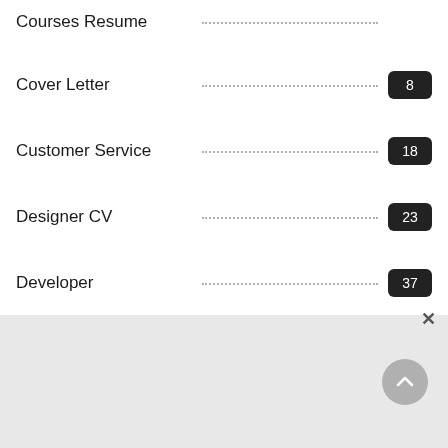Courses Resume
Cover Letter 8
Customer Service 18
Designer CV 23
Developer 37
Developers Resume 3
Driver CV 17
Education 60
Email Templates 9
Engineering Resume